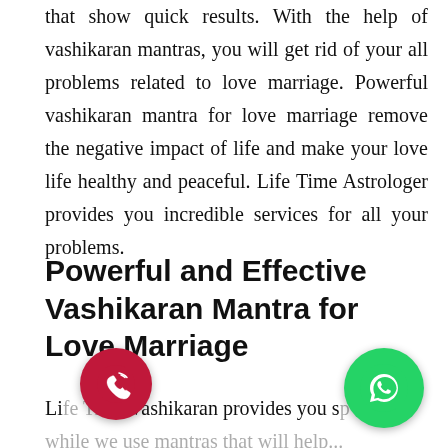that show quick results. With the help of vashikaran mantras, you will get rid of your all problems related to love marriage. Powerful vashikaran mantra for love marriage remove the negative impact of life and make your love life healthy and peaceful. Life Time Astrologer provides you incredible services for all your problems.
Powerful and Effective Vashikaran Mantra for Love Marriage
Life Time Vashikaran provides you s... while we use mantras that will help...